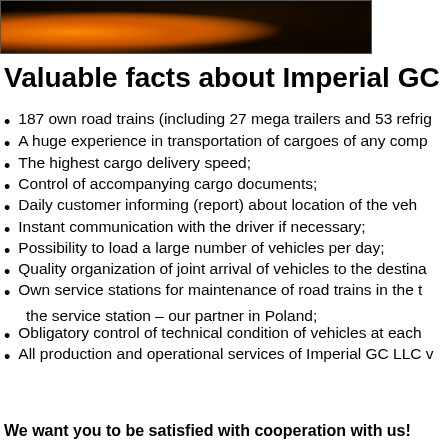[Figure (photo): Dark photo strip showing truck headlights or vehicle lights glowing orange/yellow against a dark background]
Valuable facts about Imperial GC
187 own road trains (including 27 mega trailers and 53 refrig…
A huge experience in transportation of cargoes of any comp…
The highest cargo delivery speed;
Control of accompanying cargo documents;
Daily customer informing (report) about location of the veh…
Instant communication with the driver if necessary;
Possibility to load a large number of vehicles per day;
Quality organization of joint arrival of vehicles to the destina…
Own service stations for maintenance of road trains in the t… the service station – our partner in Poland;
Obligatory control of technical condition of vehicles at each…
All production and operational services of Imperial GC LLC v…
We want you to be satisfied with cooperation with us!